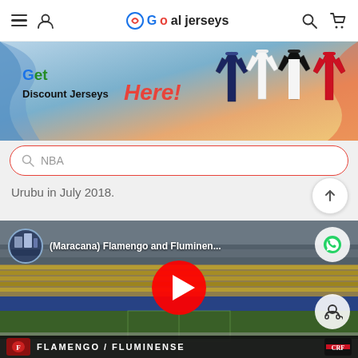Goaljerseys — navigation bar with hamburger, user, logo, search, cart icons
[Figure (infographic): Goaljerseys promotional banner: 'Get Discount Jerseys Here!' with football jerseys on right side and colorful wave background]
🔍 NBA (search bar placeholder)
Urubu in July 2018.
[Figure (screenshot): YouTube video thumbnail for '(Maracana) Flamengo and Fluminen...' showing Maracana stadium interior with YouTube play button overlay, WhatsApp and headset support buttons, and Flamengo/Fluminense club logos at bottom]